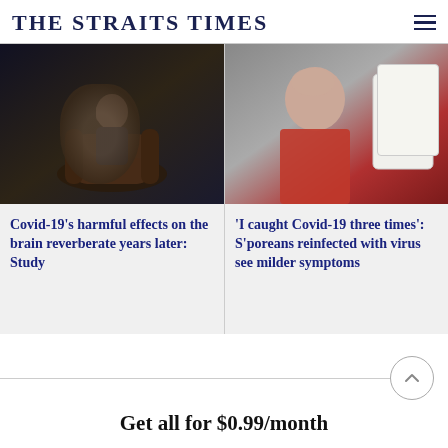THE STRAITS TIMES
[Figure (photo): Man sitting in armchair with head in hand, dark moody background]
Covid-19's harmful effects on the brain reverberate years later: Study
[Figure (photo): Person holding a Covid-19 rapid antigen test kit]
'I caught Covid-19 three times': S'poreans reinfected with virus see milder symptoms
Get all for $0.99/month